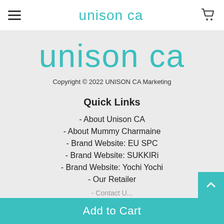unison ca
[Figure (logo): unison ca large teal logo text]
Copyright © 2022 UNISON CA Marketing
Quick Links
- About Unison CA
- About Mummy Charmaine
- Brand Website: EU SPC
- Brand Website: SUKKIRi
- Brand Website: Yochi Yochi
- Our Retailer
Add to Cart